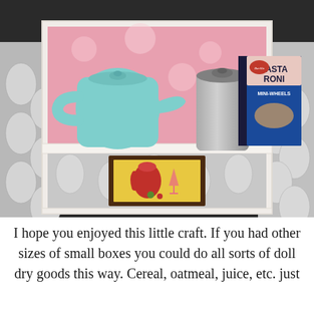[Figure (photo): A miniature dollhouse shelf unit displaying small kitchen items: a teal/mint colored teapot, a silver/gray metal coffee percolator, and a mini Pasta Roni Mini Wheels box. The lower shelf shows a framed painting of a red pitcher and wine glass. The background has a pink floral wallpaper pattern on the upper shelf and a gray geometric quatrefoil pattern on the sides and lower area.]
I hope you enjoyed this little craft. If you had other sizes of small boxes you could do all sorts of doll dry goods this way. Cereal, oatmeal, juice, etc. just